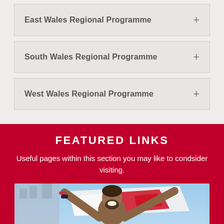East Wales Regional Programme +
South Wales Regional Programme +
West Wales Regional Programme +
FEATURED LINKS
Useful pages within this section you may like to condsider visiting.
[Figure (photo): A man holding up a Welsh dragon flag (red and white) with both arms raised, smiling, outdoors with a blue sky background.]